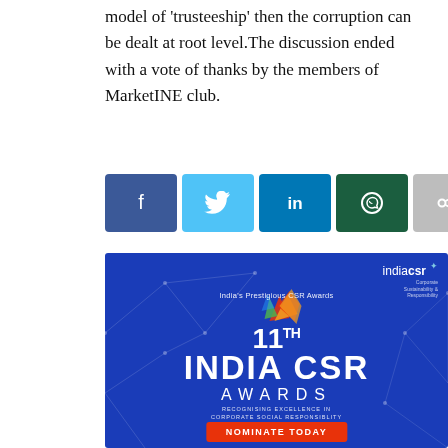model of 'trusteeship' then the corruption can be dealt at root level. The discussion ended with a vote of thanks by the members of MarketINE club.
[Figure (infographic): Social media share buttons: Facebook (dark blue), Twitter (light blue), LinkedIn (blue), WhatsApp (dark green), Share/forward (grey)]
[Figure (infographic): India CSR Awards advertisement banner. Blue background with geometric line patterns. Shows 'indiacsr Corporate Sustainability & Responsibility' logo top right, 'India's Prestigious CSR Awards' subtitle, colorful bird logo, '11TH INDIA CSR AWARDS', 'RECOGNISING EXCELLENCE IN CORPORATE SOCIAL RESPONSIBLITY', and 'NOMINATE TODAY' red button.]